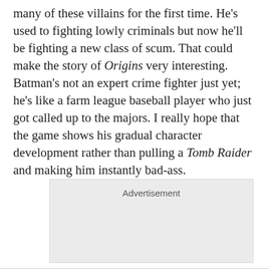many of these villains for the first time. He's used to fighting lowly criminals but now he'll be fighting a new class of scum. That could make the story of Origins very interesting. Batman's not an expert crime fighter just yet; he's like a farm league baseball player who just got called up to the majors. I really hope that the game shows his gradual character development rather than pulling a Tomb Raider and making him instantly bad-ass.
[Figure (other): Advertisement placeholder box with gray background]